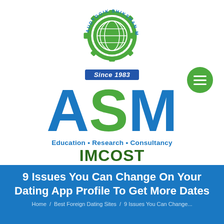[Figure (logo): ASM Audyogik Shikshan Mandal logo with gear and globe icon, 'Since 1983' banner, large ASM letters in blue and green, tagline 'Education • Research • Consultancy', and 'IMCOST' below]
9 Issues You Can Change On Your Dating App Profile To Get More Dates
Home / Best Foreign Dating Sites / 9 Issues You Can Change...